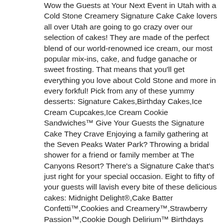Wow the Guests at Your Next Event in Utah with a Cold Stone Creamery Signature Cake Cake lovers all over Utah are going to go crazy over our selection of cakes! They are made of the perfect blend of our world-renowned ice cream, our most popular mix-ins, cake, and fudge ganache or sweet frosting. That means that you'll get everything you love about Cold Stone and more in every forkful! Pick from any of these yummy desserts: Signature Cakes,Birthday Cakes,Ice Cream Cupcakes,Ice Cream Cookie Sandwiches™ Give Your Guests the Signature Cake They Crave Enjoying a family gathering at the Seven Peaks Water Park? Throwing a bridal shower for a friend or family member at The Canyons Resort? There's a Signature Cake that's just right for your special occasion. Eight to fifty of your guests will lavish every bite of these delicious cakes: Midnight Delight®,Cake Batter Confetti™,Cookies and Creamery™,Strawberry Passion™,Cookie Dough Delirium™ Birthdays Just Got Better With Cold Stone Birthday Cakes Your child is going to be so excited when they see their birthday cake sporting the image of Lightning McQueen® or Dora the Explorer®. If you want to add a theme to your child's cake, just let us know what their favorite cartoon character or superhero is, and we'll decorate a Cold Stone birthday cake that they'll never forget! Delicious Bite Size Treats That Everybody Will Love With our Signature Ice Cream Cupcakes, every night is worth celebrating. These individualized treats are available in three different variations, and they're a great after-dinner snack.